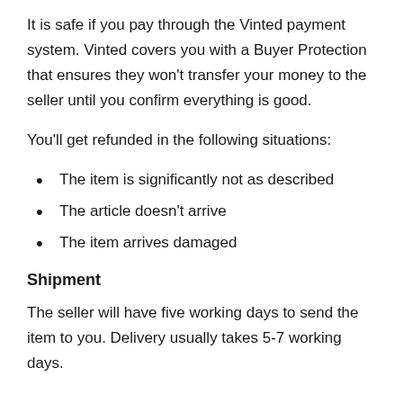It is safe if you pay through the Vinted payment system. Vinted covers you with a Buyer Protection that ensures they won't transfer your money to the seller until you confirm everything is good.
You'll get refunded in the following situations:
The item is significantly not as described
The article doesn't arrive
The item arrives damaged
Shipment
The seller will have five working days to send the item to you. Delivery usually takes 5-7 working days.